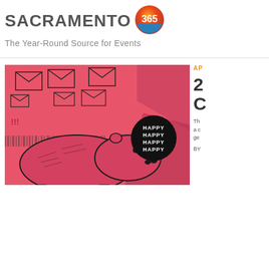SACRAMENTO 365 — The Year-Round Source for Events
[Figure (illustration): Pink-toned illustration of a hippopotamus with envelope/mail graphics in the background, and a black circular badge reading HAPPY HAPPY HAPPY HAPPY]
AP
2 C
Th a c ge BY